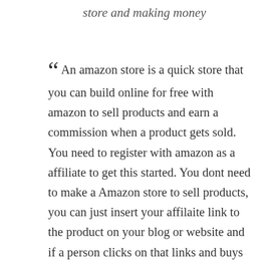store and making money
“ An amazon store is a quick store that you can build online for free with amazon to sell products and earn a commission when a product gets sold. You need to register with amazon as a affiliate to get this started. You dont need to make a Amazon store to sell products, you can just insert your affilaite link to the product on your blog or website and if a person clicks on that links and buys